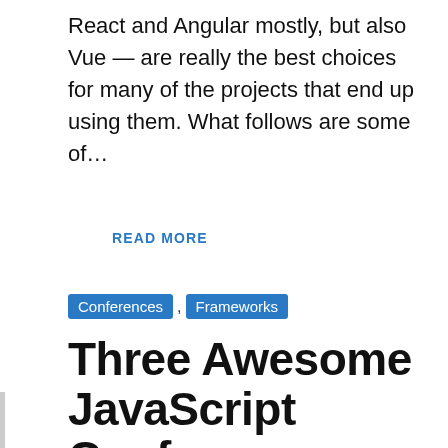React and Angular mostly, but also Vue — are really the best choices for many of the projects that end up using them. What follows are some of…
READ MORE
Conferences , Frameworks
Three Awesome JavaScript Conferences and